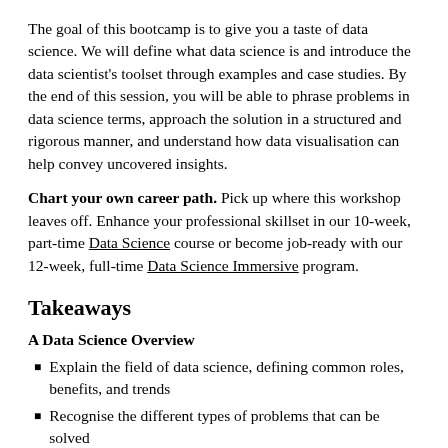The goal of this bootcamp is to give you a taste of data science. We will define what data science is and introduce the data scientist's toolset through examples and case studies. By the end of this session, you will be able to phrase problems in data science terms, approach the solution in a structured and rigorous manner, and understand how data visualisation can help convey uncovered insights.
Chart your own career path. Pick up where this workshop leaves off. Enhance your professional skillset in our 10-week, part-time Data Science course or become job-ready with our 12-week, full-time Data Science Immersive program.
Takeaways
A Data Science Overview
Explain the field of data science, defining common roles, benefits, and trends
Recognise the different types of problems that can be solved